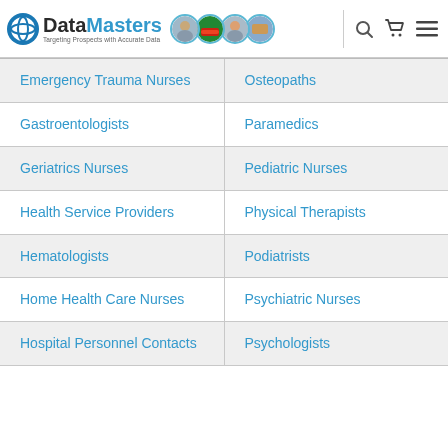DataMasters — Targeting Prospects with Accurate Data
Emergency Trauma Nurses
Osteopaths
Gastroentologists
Paramedics
Geriatrics Nurses
Pediatric Nurses
Health Service Providers
Physical Therapists
Hematologists
Podiatrists
Home Health Care Nurses
Psychiatric Nurses
Hospital Personnel Contacts
Psychologists